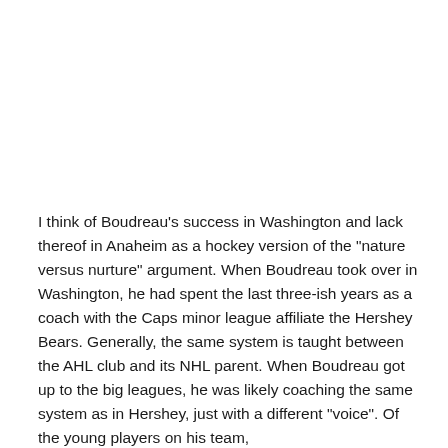I think of Boudreau's success in Washington and lack thereof in Anaheim as a hockey version of the "nature versus nurture" argument. When Boudreau took over in Washington, he had spent the last three-ish years as a coach with the Caps minor league affiliate the Hershey Bears. Generally, the same system is taught between the AHL club and its NHL parent. When Boudreau got up to the big leagues, he was likely coaching the same system as in Hershey, just with a different "voice". Of the young players on his team,